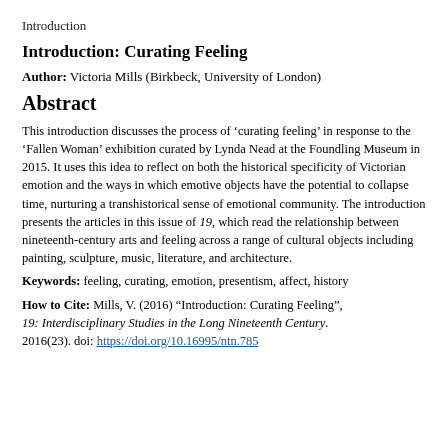Introduction
Introduction: Curating Feeling
Author: Victoria Mills (Birkbeck, University of London)
Abstract
This introduction discusses the process of ‘curating feeling’ in response to the ‘Fallen Woman’ exhibition curated by Lynda Nead at the Foundling Museum in 2015. It uses this idea to reflect on both the historical specificity of Victorian emotion and the ways in which emotive objects have the potential to collapse time, nurturing a transhistorical sense of emotional community. The introduction presents the articles in this issue of 19, which read the relationship between nineteenth-century arts and feeling across a range of cultural objects including painting, sculpture, music, literature, and architecture.
Keywords: feeling, curating, emotion, presentism, affect, history
How to Cite: Mills, V. (2016) “Introduction: Curating Feeling”, 19: Interdisciplinary Studies in the Long Nineteenth Century. 2016(23). doi: https://doi.org/10.16995/ntn.785